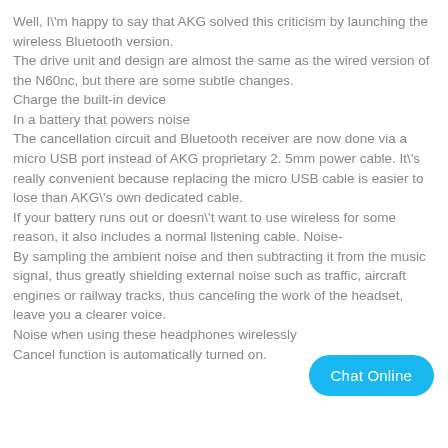Well, I'm happy to say that AKG solved this criticism by launching the wireless Bluetooth version.
The drive unit and design are almost the same as the wired version of the N60nc, but there are some subtle changes.
Charge the built-in device
In a battery that powers noise
The cancellation circuit and Bluetooth receiver are now done via a micro USB port instead of AKG proprietary 2. 5mm power cable. It's really convenient because replacing the micro USB cable is easier to lose than AKG's own dedicated cable.
If your battery runs out or doesn't want to use wireless for some reason, it also includes a normal listening cable. Noise-
By sampling the ambient noise and then subtracting it from the music signal, thus greatly shielding external noise such as traffic, aircraft engines or railway tracks, thus canceling the work of the headset, leave you a clearer voice.
Noise when using these headphones wirelessly
Cancel function is automatically turned on.
[Figure (other): Chat Online button - a rounded pill-shaped button with cyan/blue background and white text]